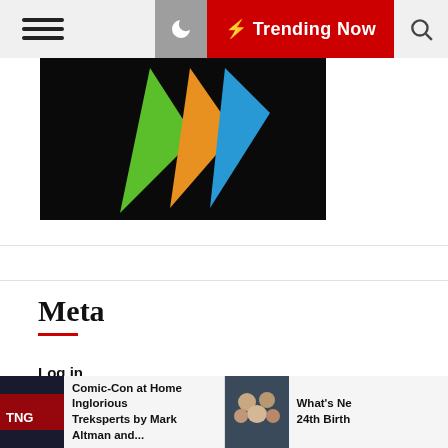☰  🌙  ⚡ Trending Now  🔍
[Figure (illustration): Hero image with colorful triangular shapes (green, orange, blue) on a dark/black background]
Meta
Log in
Entries feed
Comments feed
WordPress.org
[Figure (photo): Small thumbnail image – dark tones, text/logo visible]
Comic-Con at Home Inglorious Treksperts by Mark Altman and...
[Figure (photo): Small thumbnail image – group of people]
What's Ne 24th Birth